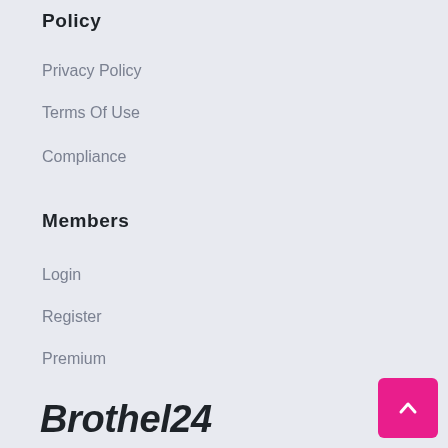Policy
Privacy Policy
Terms Of Use
Compliance
Members
Login
Register
Premium
Brothel24
Brothel24 is not just another escort listing. It's a support network, a social hub for adult entertainment industry. W bring all the escorts services together in one user-oriented